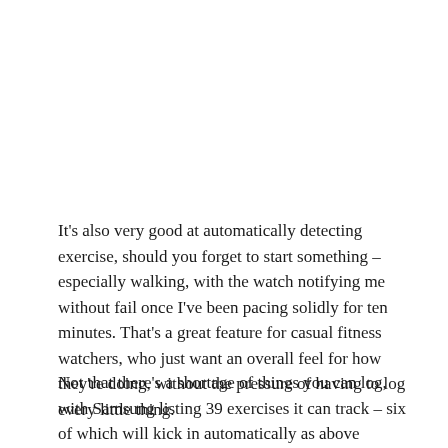It's also very good at automatically detecting exercise, should you forget to start something – especially walking, with the watch notifying me without fail once I've been pacing solidly for ten minutes. That's a great feature for casual fitness watchers, who just want an overall feel for how they're doing, without the pressure of having to log every little thing.
Not that there's a shortage of things you can log, with Samsung listing 39 exercises it can track – six of which will kick in automatically as above (walking, running, dynamic cycling, elliptical, rowing, and high-intensity interval training).